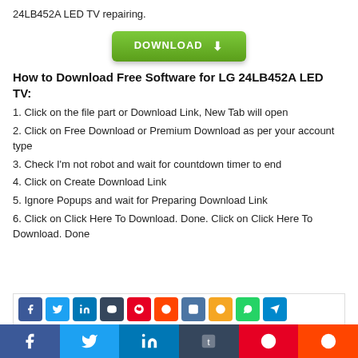24LB452A LED TV repairing.
[Figure (other): Green download button with arrow icon]
How to Download Free Software for LG 24LB452A LED TV:
1. Click on the file part or Download Link, New Tab will open
2. Click on Free Download or Premium Download as per your account type
3. Check I'm not robot and wait for countdown timer to end
4. Click on Create Download Link
5. Ignore Popups and wait for Preparing Download Link
6. Click on Click Here To Download. Done. Click on Click Here To Download. Done
[Figure (other): Social media sharing buttons bar at bottom: Facebook, Twitter, LinkedIn, Tumblr, Pinterest, Reddit and more]